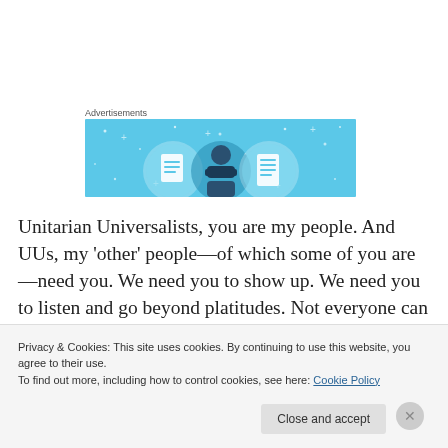Advertisements
[Figure (illustration): Blue advertisement banner with three circular icons showing document/person graphics on a light blue background with white sparkle decorations]
Unitarian Universalists, you are my people. And UUs, my 'other' people—of which some of you are—need you. We need you to show up. We need you to listen and go beyond platitudes. Not everyone can travel hundreds of miles, but we can all do something—something beyond
Privacy & Cookies: This site uses cookies. By continuing to use this website, you agree to their use.
To find out more, including how to control cookies, see here: Cookie Policy